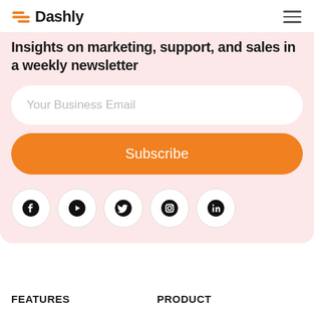Dashly
Insights on marketing, support, and sales in a weekly newsletter
[Figure (screenshot): Email input field with placeholder 'Your Business Email' and an orange Subscribe button, on a pink background with social media icons below (Facebook, YouTube, Twitter, Instagram, LinkedIn)]
FEATURES
PRODUCT